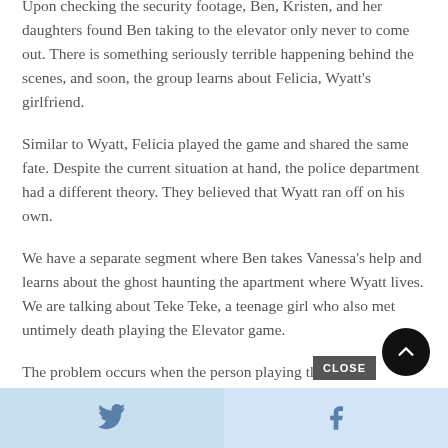Upon checking the security footage, Ben, Kristen, and her daughters found Ben taking to the elevator only never to come out. There is something seriously terrible happening behind the scenes, and soon, the group learns about Felicia, Wyatt's girlfriend.
Similar to Wyatt, Felicia played the game and shared the same fate. Despite the current situation at hand, the police department had a different theory. They believed that Wyatt ran off on his own.
We have a separate segment where Ben takes Vanessa's help and learns about the ghost haunting the apartment where Wyatt lives. We are talking about Teke Teke, a teenage girl who also met untimely death playing the Elevator game.
The problem occurs when the person playing th...